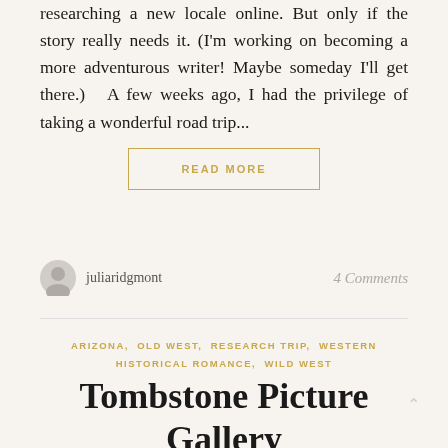researching a new locale online. But only if the story really needs it. (I'm working on becoming a more adventurous writer! Maybe someday I'll get there.)   A few weeks ago, I had the privilege of taking a wonderful road trip...
READ MORE
juliaridgmont
4 Comments
ARIZONA,  OLD WEST,  RESEARCH TRIP,  WESTERN HISTORICAL ROMANCE,  WILD WEST
Tombstone Picture Gallery